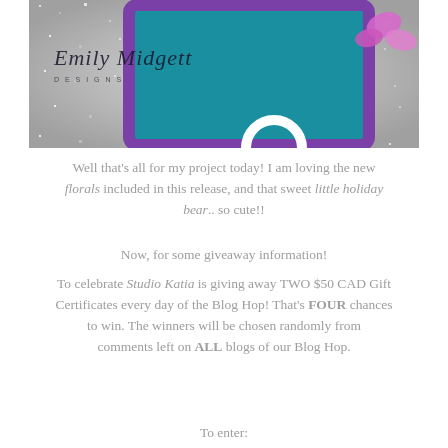[Figure (photo): Photo of a teal/blue wallet or card case with purple accents on a silver glitter background, with pink flowers visible. Script text 'Emily Midgett' overlay in top left.]
Well that's all for my project today! I am loving the new florals included in this release, and that sweet little holiday bear.. so cute!!
Now, for some giveaway information!
To celebrate Studio Katia is giving away TWO $50 CAD Gift Certificates every day of the Blog Hop! That's FOUR chances to win. The winners will be chosen randomly from comments left on ALL blogs of our Blog Hop.
To enter: